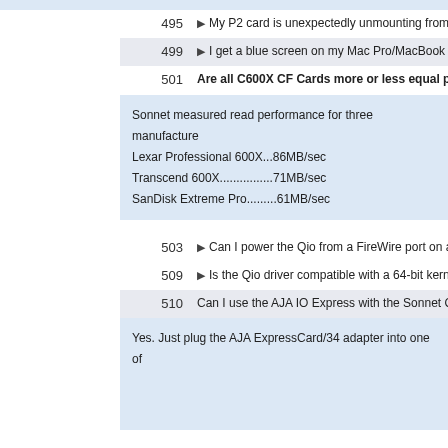495  ▶ My P2 card is unexpectedly unmounting from my Qio after
499  ▶ I get a blue screen on my Mac Pro/MacBook Pro instead of
501  Are all C600X CF Cards more or less equal performance
Sonnet measured read performance for three manufacturers
Lexar Professional 600X...86MB/sec
Transcend 600X................71MB/sec
SanDisk Extreme Pro.........61MB/sec
503  ▶ Can I power the Qio from a FireWire port on a MacBook Pr
509  ▶ Is the Qio driver compatible with a 64-bit kernel boot of OS
510  Can I use the AJA IO Express with the Sonnet Qio in a Mac
Yes. Just plug the AJA ExpressCard/34 adapter into one of
512  ▶ My Qio was working fine with my ExpressCard/34 bus inter